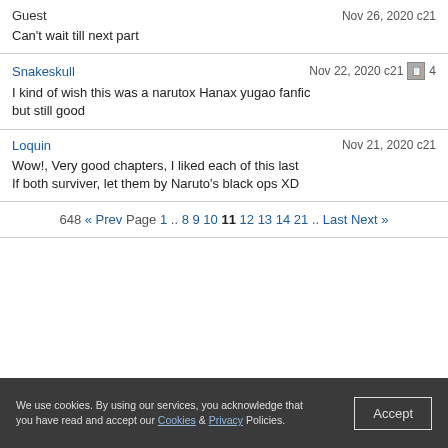Guest    Nov 26, 2020 c21
Can't wait till next part
Snakeskull    Nov 22, 2020 c21    4
I kind of wish this was a narutox Hanax yugao fanfic but still good
Loquin    Nov 21, 2020 c21
Wow!, Very good chapters, I liked each of this last
If both surviver, let them by Naruto's black ops XD
648 « Prev Page 1 .. 8 9 10 11 12 13 14 21 .. Last Next »
We use cookies. By using our services, you acknowledge that you have read and accept our Cookies & Privacy Policies.